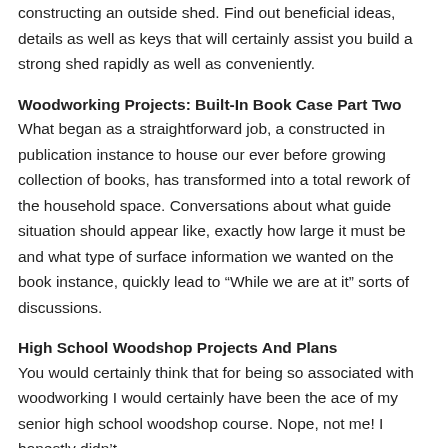constructing an outside shed. Find out beneficial ideas, details as well as keys that will certainly assist you build a strong shed rapidly as well as conveniently.
Woodworking Projects: Built-In Book Case Part Two
What began as a straightforward job, a constructed in publication instance to house our ever before growing collection of books, has transformed into a total rework of the household space. Conversations about what guide situation should appear like, exactly how large it must be and what type of surface information we wanted on the book instance, quickly lead to “While we are at it” sorts of discussions.
High School Woodshop Projects And Plans
You would certainly think that for being so associated with woodworking I would certainly have been the ace of my senior high school woodshop course. Nope, not me! I honestly didn’t